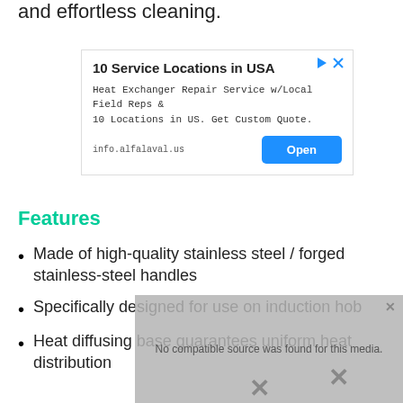and effortless cleaning.
[Figure (other): Advertisement banner for Alfa Laval: '10 Service Locations in USA' with text 'Heat Exchanger Repair Service w/Local Field Reps & 10 Locations in US. Get Custom Quote.' URL: info.alfalaval.us, with an Open button]
Features
Made of high-quality stainless steel / forged stainless-steel handles
Specifically designed for use on induction hob
Heat diffusing base guarantees uniform heat distribution
[Figure (other): Video overlay showing 'No compatible source was found for this media.' with close and X buttons]